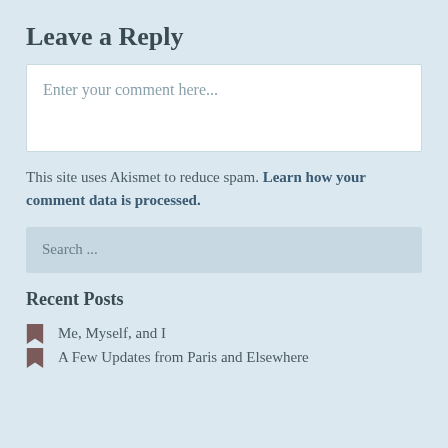Leave a Reply
Enter your comment here...
This site uses Akismet to reduce spam. Learn how your comment data is processed.
Search ...
Recent Posts
Me, Myself, and I
A Few Updates from Paris and Elsewhere